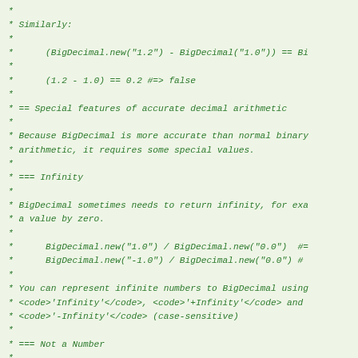* 
* Similarly:
*
*      (BigDecimal.new("1.2") - BigDecimal("1.0")) == Bi
*
*      (1.2 - 1.0) == 0.2 #=> false
*
* == Special features of accurate decimal arithmetic
*
* Because BigDecimal is more accurate than normal binary
* arithmetic, it requires some special values.
*
* === Infinity
*
* BigDecimal sometimes needs to return infinity, for exa
* a value by zero.
*
*      BigDecimal.new("1.0") / BigDecimal.new("0.0")  #=
*      BigDecimal.new("-1.0") / BigDecimal.new("0.0") #
*
* You can represent infinite numbers to BigDecimal using
* <code>'Infinity'</code>, <code>'+Infinity'</code> and
* <code>'-Infinity'</code> (case-sensitive)
*
* === Not a Number
*
* When a computation results in an undefined value, the
* (for 'not a number') is returned.
*
* Example: